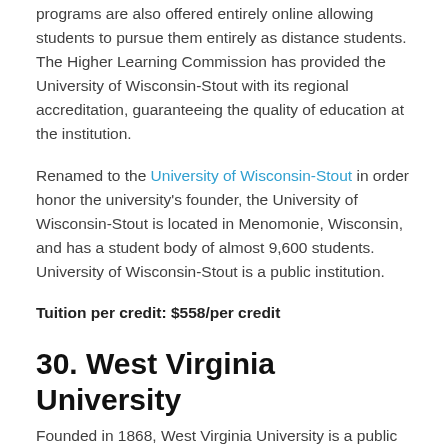programs are also offered entirely online allowing students to pursue them entirely as distance students. The Higher Learning Commission has provided the University of Wisconsin-Stout with its regional accreditation, guaranteeing the quality of education at the institution.
Renamed to the University of Wisconsin-Stout in order honor the university's founder, the University of Wisconsin-Stout is located in Menomonie, Wisconsin, and has a student body of almost 9,600 students. University of Wisconsin-Stout is a public institution.
Tuition per credit: $558/per credit
30. West Virginia University
Founded in 1868, West Virginia University is a public...